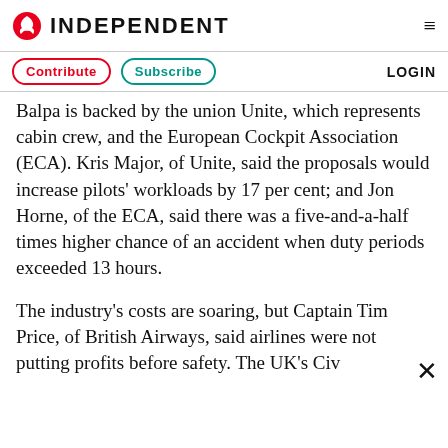INDEPENDENT
Contribute | Subscribe | LOGIN
Balpa is backed by the union Unite, which represents cabin crew, and the European Cockpit Association (ECA). Kris Major, of Unite, said the proposals would increase pilots' workloads by 17 per cent; and Jon Horne, of the ECA, said there was a five-and-a-half times higher chance of an accident when duty periods exceeded 13 hours.
The industry's costs are soaring, but Captain Tim Price, of British Airways, said airlines were not putting profits before safety. The UK's Civ